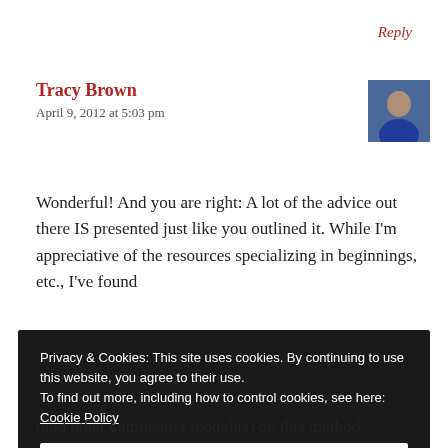Reply
Tracy Brown
April 9, 2012 at 5:03 pm
[Figure (photo): Small avatar/profile photo of Tracy Brown]
Wonderful! And you are right: A lot of the advice out there IS presented just like you outlined it. While I'm appreciative of the resources specializing in beginnings, etc., I've found
Privacy & Cookies: This site uses cookies. By continuing to use this website, you agree to their use.
To find out more, including how to control cookies, see here:
Cookie Policy

Close and accept
(and other commenter thoughts) on this method.